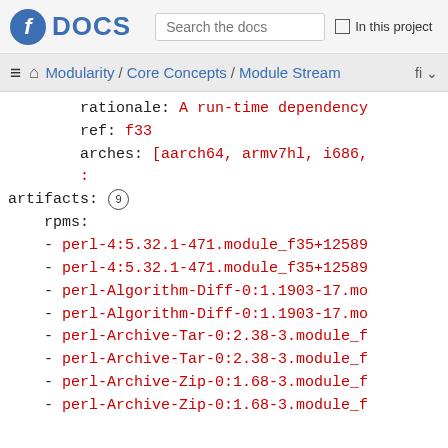Fedora DOCS | Search the docs | In this project
Modularity / Core Concepts / Module Stream
rationale: A run-time dependency
ref: f33
arches: [aarch64, armv7hl, i686,
:
artifacts: (9)
rpms:
- perl-4:5.32.1-471.module_f35+12589
- perl-4:5.32.1-471.module_f35+12589
- perl-Algorithm-Diff-0:1.1903-17.mo
- perl-Algorithm-Diff-0:1.1903-17.mo
- perl-Archive-Tar-0:2.38-3.module_f
- perl-Archive-Tar-0:2.38-3.module_f
- perl-Archive-Zip-0:1.68-3.module_f
- perl-Archive-Zip-0:1.68-3.module_f